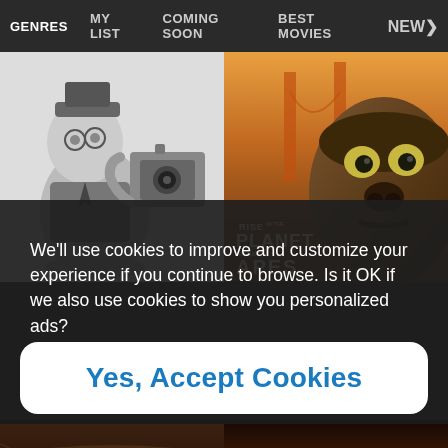GENRES  MY LIST  COMING SOON  BEST MOVIES  NEW>
[Figure (screenshot): Two movie poster thumbnails: left is a black-and-white animated/illustrated image of a character with a camera; right is Rise of the Planet of the Apes movie poster showing a close-up of an ape's face with Golden Gate Bridge in background]
We'll use cookies to improve and customize your experience if you continue to browse. Is it OK if we also use cookies to show you personalized ads?
Yes, Accept Cookies
[Figure (screenshot): Two movie poster thumbnails at bottom: left shows close-up of ape eyes, right shows Indiana Jones and the Temple of Doom title card]